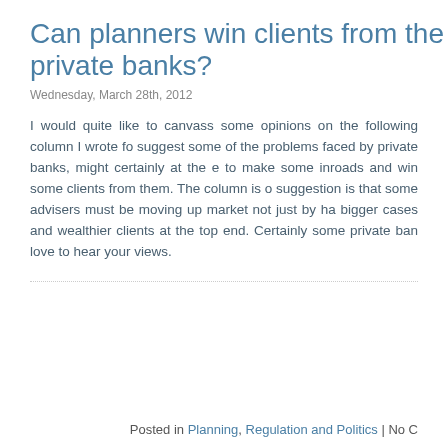Can planners win clients from the private banks?
Wednesday, March 28th, 2012
I would quite like to canvass some opinions on the following column I wrote fo... suggest some of the problems faced by private banks, might certainly at the e... to make some inroads and win some clients from them. The column is o... suggestion is that some advisers must be moving up market not just by ha... bigger cases and wealthier clients at the top end. Certainly some private ban... love to hear your views.
Posted in Planning, Regulation and Politics | No C...
Is the IFA name on the rise?/ and UCIS beg the c... cases
Tuesday, July 5th, 2011